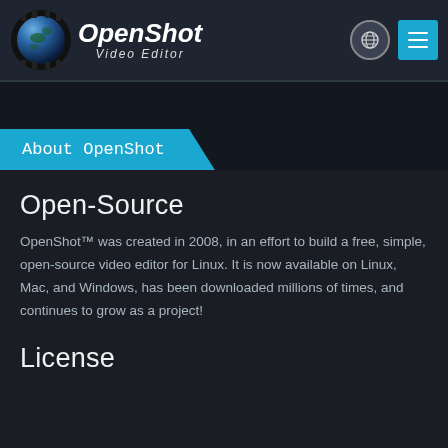OpenShot Video Editor
About OpenShot
Open-Source
OpenShot™ was created in 2008, in an effort to build a free, simple, open-source video editor for Linux. It is now available on Linux, Mac, and Windows, has been downloaded millions of times, and continues to grow as a project!
License